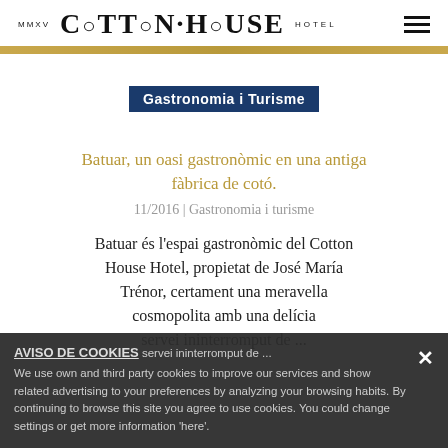MMXV COTTON·HOUSE HOTEL
Gastronomia i Turisme
Batuar, un oasi gastronòmic en una antiga fàbrica de cotó.
11/2016 | Gastronomia i turisme
Batuar és l'espai gastronòmic del Cotton House Hotel, propietat de José María Trénor, certament una meravella cosmopolita amb una delícia servei ininterromput de ...
AVISO DE COOKIES
We use own and third party cookies to improve our services and show related advertising to your preferences by analyzing your browsing habits. By continuing to browse this site you agree to use cookies. You could change settings or get more information 'here'.